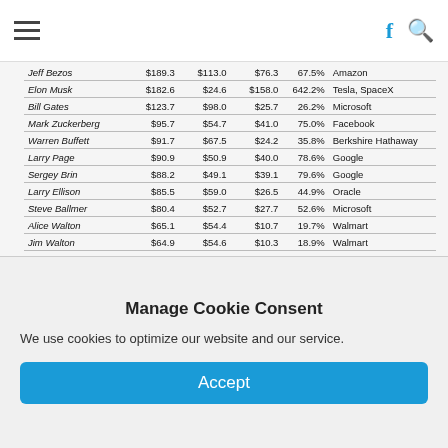Navigation bar with hamburger menu and social/search icons
| Name | Current ($B) | Mar 18, 2020 ($B) | ($ change) | (% change) | Primary Source |
| --- | --- | --- | --- | --- | --- |
| Jeff Bezos | $189.3 | $113.0 | $76.3 | 67.5% | Amazon |
| Elon Musk | $182.6 | $24.6 | $158.0 | 642.2% | Tesla, SpaceX |
| Bill Gates | $123.7 | $98.0 | $25.7 | 26.2% | Microsoft |
| Mark Zuckerberg | $95.7 | $54.7 | $41.0 | 75.0% | Facebook |
| Warren Buffett | $91.7 | $67.5 | $24.2 | 35.8% | Berkshire Hathaway |
| Larry Page | $90.9 | $50.9 | $40.0 | 78.6% | Google |
| Sergey Brin | $88.2 | $49.1 | $39.1 | 79.6% | Google |
| Larry Ellison | $85.5 | $59.0 | $26.5 | 44.9% | Oracle |
| Steve Ballmer | $80.4 | $52.7 | $27.7 | 52.6% | Microsoft |
| Alice Walton | $65.1 | $54.4 | $10.7 | 19.7% | Walmart |
| Jim Walton | $64.9 | $54.6 | $10.3 | 18.9% | Walmart |
| Rob Walton | $64.6 | $54.1 | $10.5 | 19.4% | Walmart |
| MacKenzie Scott | $57.4 | $36.0 | $21.4 | 59.3% | Amazon |
| Michael Bloomberg | $54.9 | $48.0 | $6.9 | 14.4% | Bloomberg LP |
| Phil Knight | $53.1 | $29.5 | $23.6 | 80.0% | Nike |
| SUBTOTAL | $1,388.0 | $846.1 | $541.9 | 64.0% |  |
| ALL OTHERS | $2,856.8 | $2,101.4 | $755.4 | 35.9% |  |
| TOTAL | $4,244.8 | $2,947.5 | $1,297.3 | 44.0% |  |
2:28 PM · Feb 24, 2021
Manage Cookie Consent
We use cookies to optimize our website and our service.
Accept